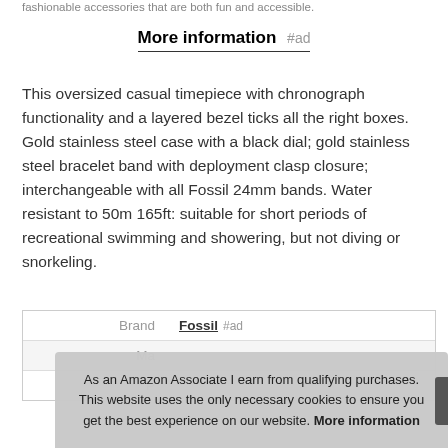fashionable accessories that are both fun and accessible.
More information #ad
This oversized casual timepiece with chronograph functionality and a layered bezel ticks all the right boxes. Gold stainless steel case with a black dial; gold stainless steel bracelet band with deployment clasp closure; interchangeable with all Fossil 24mm bands. Water resistant to 50m 165ft: suitable for short periods of recreational swimming and showering, but not diving or snorkeling.
|  |  |
| --- | --- |
| Brand | Fossil #ad |
| Ma |  |
| P |  |
As an Amazon Associate I earn from qualifying purchases. This website uses the only necessary cookies to ensure you get the best experience on our website. More information